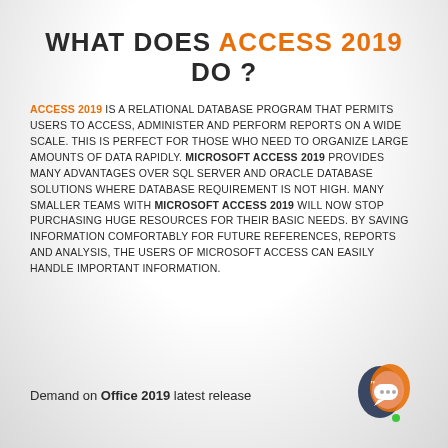WHAT DOES ACCESS 2019 DO ?
ACCESS 2019 IS A RELATIONAL DATABASE PROGRAM THAT PERMITS USERS TO ACCESS, ADMINISTER AND PERFORM REPORTS ON A WIDE SCALE. THIS IS PERFECT FOR THOSE WHO NEED TO ORGANIZE LARGE AMOUNTS OF DATA RAPIDLY. MICROSOFT ACCESS 2019 PROVIDES MANY ADVANTAGES OVER SQL SERVER AND ORACLE DATABASE SOLUTIONS WHERE DATABASE REQUIREMENT IS NOT HIGH. MANY SMALLER TEAMS WITH MICROSOFT ACCESS 2019 WILL NOW STOP PURCHASING HUGE RESOURCES FOR THEIR BASIC NEEDS. BY SAVING INFORMATION COMFORTABLY FOR FUTURE REFERENCES, REPORTS AND ANALYSIS, THE USERS OF MICROSOFT ACCESS CAN EASILY HANDLE IMPORTANT INFORMATION.
Demand on Office 2019 latest release